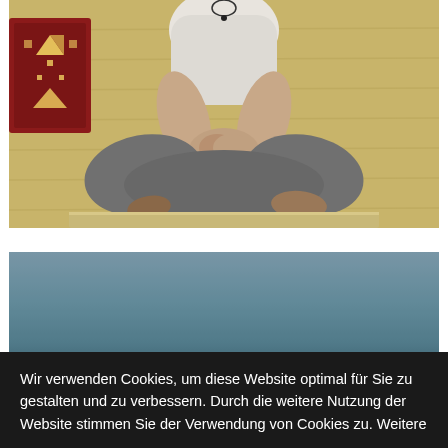[Figure (photo): A person sitting cross-legged on a wooden bench or platform, wearing a white tank top and grey/dark trousers, with a colorful patterned pillow (red, white, yellow geometric design) visible to the left, against a wooden plank wall background.]
[Figure (photo): Partial view of a second photo, mostly showing a grey-blue blurred background, partially visible at the bottom of the page.]
Wir verwenden Cookies, um diese Website optimal für Sie zu gestalten und zu verbessern. Durch die weitere Nutzung der Website stimmen Sie der Verwendung von Cookies zu. Weitere Informationen erhalten Sie in unserer Datenschutzerklärung.